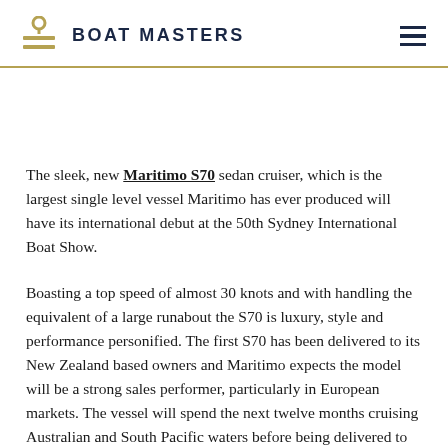BOAT MASTERS
The sleek, new Maritimo S70 sedan cruiser, which is the largest single level vessel Maritimo has ever produced will have its international debut at the 50th Sydney International Boat Show.
Boasting a top speed of almost 30 knots and with handling the equivalent of a large runabout the S70 is luxury, style and performance personified. The first S70 has been delivered to its New Zealand based owners and Maritimo expects the model will be a strong sales performer, particularly in European markets. The vessel will spend the next twelve months cruising Australian and South Pacific waters before being delivered to its new owners.